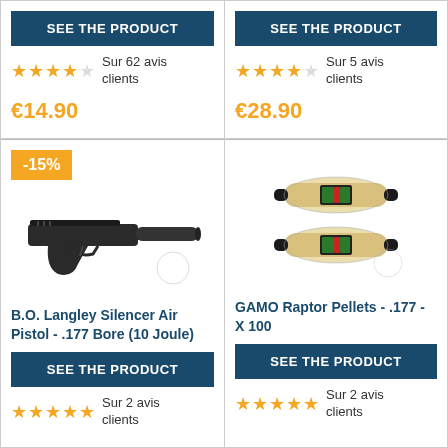SEE THE PRODUCT
★★★★☆ Sur 62 avis clients
€14.90
SEE THE PRODUCT
★★★★☆ Sur 5 avis clients
€28.90
-15%
[Figure (photo): B.O. Langley Silencer Air Pistol - black air pistol with silencer attachment]
B.O. Langley Silencer Air Pistol - .177 Bore (10 Joule)
SEE THE PRODUCT
★★★★★ Sur 2 avis clients
[Figure (photo): GAMO Raptor Pellets - two transparent tubes filled with gold pellets]
GAMO Raptor Pellets - .177 - X 100
SEE THE PRODUCT
★★★★★ Sur 2 avis clients